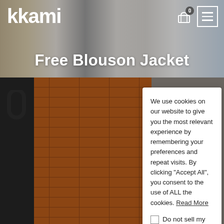kkami
Free Blouson Jacket
[Figure (screenshot): Background image showing fashion models in various outfits on a grey background, and a brick wall detail in the lower section]
We use cookies on our website to give you the most relevant experience by remembering your preferences and repeat visits. By clicking “Accept All”, you consent to the use of ALL the cookies. Read More
Do not sell my personal information.
Cookie Settings
Accept All